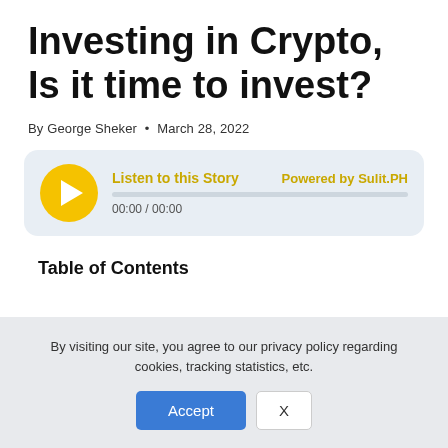Investing in Crypto, Is it time to invest?
By George Sheker • March 28, 2022
[Figure (other): Audio player widget with yellow play button, 'Listen to this Story' label in gold, 'Powered by Sulit.PH' in gold, progress bar, and time display '00:00 / 00:00']
Table of Contents
By visiting our site, you agree to our privacy policy regarding cookies, tracking statistics, etc.